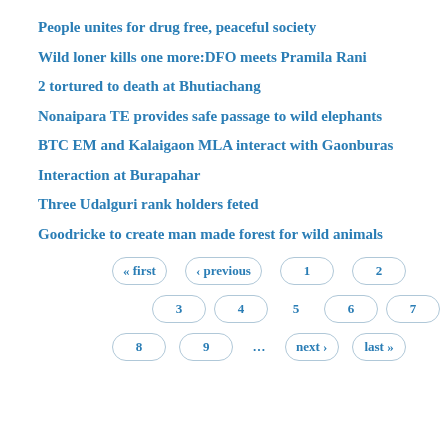People unites for drug free, peaceful society
Wild loner kills one more:DFO meets Pramila Rani
2 tortured to death at Bhutiachang
Nonaipara TE provides safe passage to wild elephants
BTC EM and Kalaigaon MLA interact with Gaonburas
Interaction at Burapahar
Three Udalguri rank holders feted
Goodricke to create man made forest for wild animals
« first ‹ previous 1 2 3 4 5 6 7 8 9 … next › last »